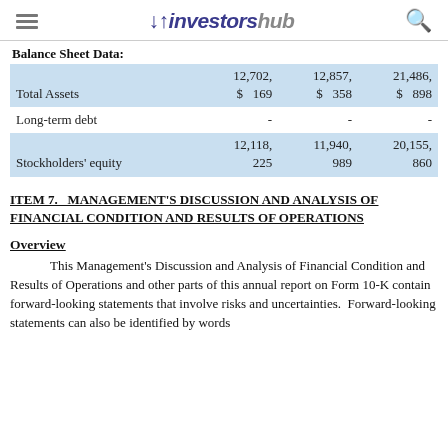investorshub
Balance Sheet Data:
|  | 12,702,
169 | 12,857,
358 | 21,486,
898 |
| --- | --- | --- | --- |
| Total Assets | $ 12,702, 169 | $ 12,857, 358 | $ 21,486, 898 |
| Long-term debt | - | - | - |
| Stockholders' equity | 12,118, 225 | 11,940, 989 | 20,155, 860 |
ITEM 7. MANAGEMENT'S DISCUSSION AND ANALYSIS OF FINANCIAL CONDITION AND RESULTS OF OPERATIONS
Overview
This Management's Discussion and Analysis of Financial Condition and Results of Operations and other parts of this annual report on Form 10-K contain forward-looking statements that involve risks and uncertainties. Forward-looking statements can also be identified by words